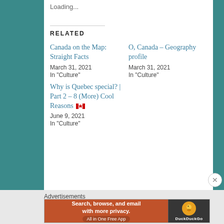Loading...
RELATED
Canada on the Map: Straight Facts
March 31, 2021
In "Culture"
O, Canada – Geography profile
March 31, 2021
In "Culture"
Why is Quebec special? | Part 2 – 8 (More) Cool Reasons 🍁
June 9, 2021
In "Culture"
Advertisements
[Figure (screenshot): DuckDuckGo advertisement banner: 'Search, browse, and email with more privacy. All in One Free App' with DuckDuckGo logo on dark background]